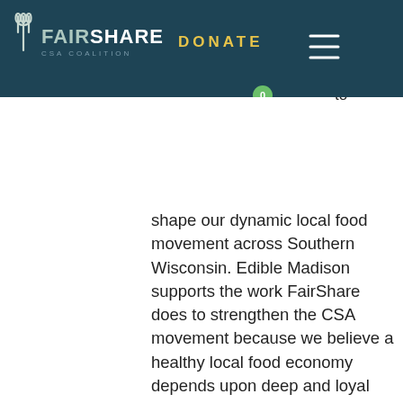[Figure (screenshot): FairShare CSA Coalition navigation bar with logo, DONATE button, hamburger menu icon, and shopping cart with 0 items, on dark teal background]
shape our dynamic local food movement across Southern Wisconsin. Edible Madison supports the work FairShare does to strengthen the CSA movement because we believe a healthy local food economy depends upon deep and loyal relationships between eaters, producers and growers.
[Figure (logo): Davines beauty + sustainability logo in gray]
[Figure (logo): Wisconsin Public Radio logo — overlapping colorful circles with text WISCONSIN PUBLIC RADIO below]
[Figure (logo): Group Health Cooperative of South Central Wisconsin logo with red G+ icon]